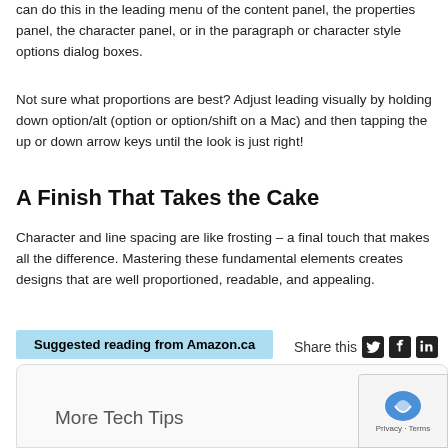can do this in the leading menu of the content panel, the properties panel, the character panel, or in the paragraph or character style options dialog boxes.
Not sure what proportions are best? Adjust leading visually by holding down option/alt (option or option/shift on a Mac) and then tapping the up or down arrow keys until the look is just right!
A Finish That Takes the Cake
Character and line spacing are like frosting – a final touch that makes all the difference. Mastering these fundamental elements creates designs that are well proportioned, readable, and appealing.
Suggested reading from Amazon.ca
Share this
More Tech Tips